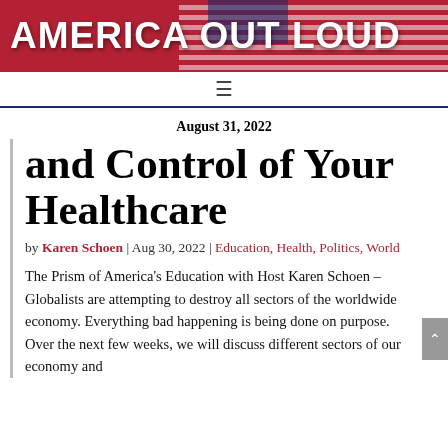AMERICA OUT LOUD
August 31, 2022
and Control of Your Healthcare
by Karen Schoen | Aug 30, 2022 | Education, Health, Politics, World
The Prism of America's Education with Host Karen Schoen – Globalists are attempting to destroy all sectors of the worldwide economy. Everything bad happening is being done on purpose. Over the next few weeks, we will discuss different sectors of our economy and